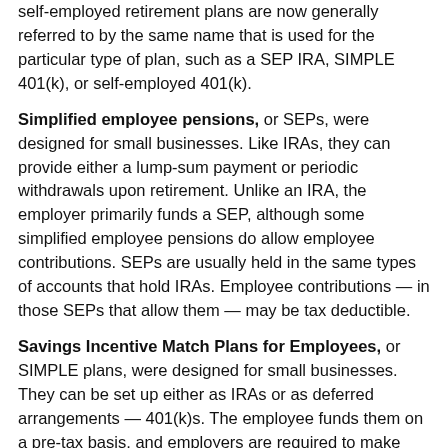self-employed retirement plans are now generally referred to by the same name that is used for the particular type of plan, such as a SEP IRA, SIMPLE 401(k), or self-employed 401(k).
Simplified employee pensions, or SEPs, were designed for small businesses. Like IRAs, they can provide either a lump-sum payment or periodic withdrawals upon retirement. Unlike an IRA, the employer primarily funds a SEP, although some simplified employee pensions do allow employee contributions. SEPs are usually held in the same types of accounts that hold IRAs. Employee contributions — in those SEPs that allow them — may be tax deductible.
Savings Incentive Match Plans for Employees, or SIMPLE plans, were designed for small businesses. They can be set up either as IRAs or as deferred arrangements — 401(k)s. The employee funds them on a pre-tax basis, and employers are required to make matching contributions. Principal and interest accumulate tax deferred.
Strictly speaking, annuity contracts are not qualified retirement plans. But they do provide tax-deferred growth like qualified